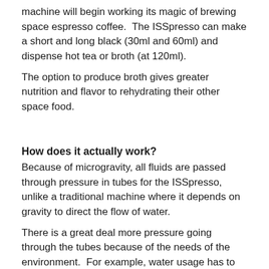machine will begin working its magic of brewing space espresso coffee.  The ISSpresso can make a short and long black (30ml and 60ml) and dispense hot tea or broth (at 120ml).
The option to produce broth gives greater nutrition and flavor to rehydrating their other space food.
How does it actually work?
Because of microgravity, all fluids are passed through pressure in tubes for the ISSpresso, unlike a traditional machine where it depends on gravity to direct the flow of water.
There is a great deal more pressure going through the tubes because of the needs of the environment.  For example, water usage has to be at very high efficiency in all systems of the ISS because it is just so costly to bring water up in a rocket (a single bottle of water can cost around $10,000 to fly up there).